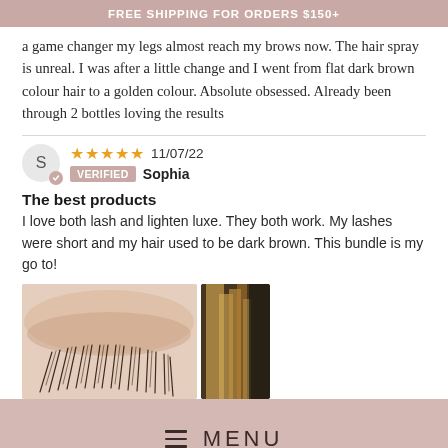FREE SHIPPING FOR ORDERS $150+
a game changer my legs almost reach my brows now. The hair spray is unreal. I was after a little change and I went from flat dark brown colour hair to a golden colour. Absolute obsessed. Already been through 2 bottles loving the results
★★★★★ 11/07/22 VERIFIED Sophia
The best products
I love both lash and lighten luxe. They both work. My lashes were short and my hair used to be dark brown. This bundle is my go to!
[Figure (photo): Close-up photo of eyelashes, showing long lashes from below]
[Figure (photo): Partial photo of hair, showing blonde/golden coloured hair]
MENU
★★★★★ 29/04/22